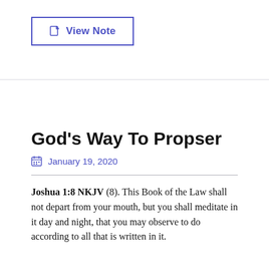[Figure (other): View Note button with note icon, bordered in blue/indigo color]
God's Way To Propser
January 19, 2020
Joshua 1:8 NKJV (8). This Book of the Law shall not depart from your mouth, but you shall meditate in it day and night, that you may observe to do according to all that is written in it.